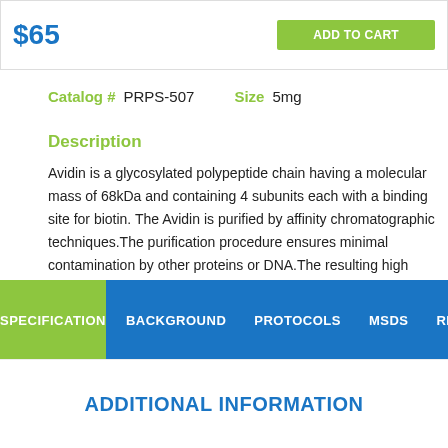$65
Catalog #   PRPS-507   Size   5mg
Description
Avidin is a glycosylated polypeptide chain having a molecular mass of 68kDa and containing 4 subunits each with a binding site for biotin. The Avidin is purified by affinity chromatographic techniques.The purification procedure ensures minimal contamination by other proteins or DNA.The resulting high activity and purity of the product gives very low non-specific binding (NSB).
SPECIFICATION   BACKGROUND   PROTOCOLS   MSDS   REVIEW
ADDITIONAL INFORMATION